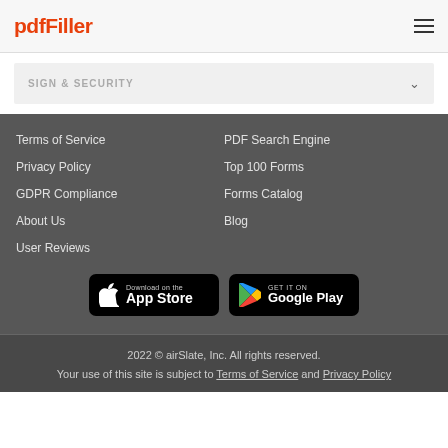pdfFiller
SIGN & SECURITY
Terms of Service
Privacy Policy
GDPR Compliance
About Us
User Reviews
PDF Search Engine
Top 100 Forms
Forms Catalog
Blog
[Figure (logo): Download on the App Store button]
[Figure (logo): Get it on Google Play button]
2022 © airSlate, Inc. All rights reserved. Your use of this site is subject to Terms of Service and Privacy Policy